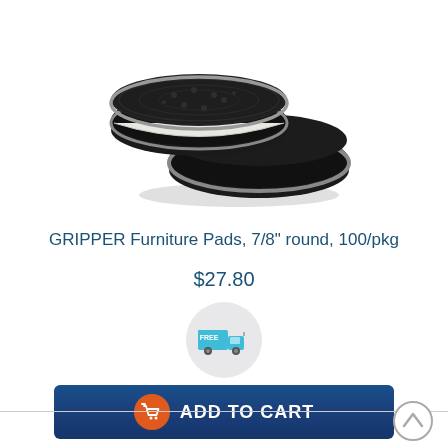[Figure (photo): Two round black rubber furniture gripper pads, stacked, with a metal silver rim and white felt visible on the underside.]
GRIPPER Furniture Pads, 7/8" round, 100/pkg
$27.80
[Figure (illustration): Free shipping badge: a circular grey badge with a teal/cyan background truck icon and 'FREE' text in white.]
[Figure (illustration): Add to cart button: dark navy blue rounded rectangle button with an orange circle containing a white shopping cart icon on the left, and 'ADD TO CART' in bold white text.]